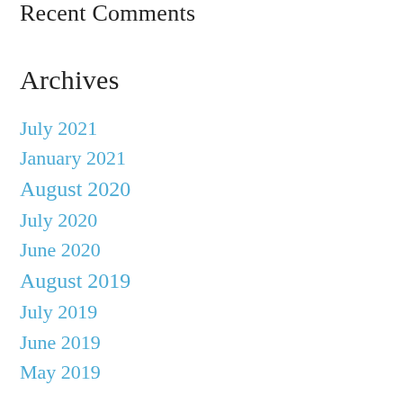Recent Comments
Archives
July 2021
January 2021
August 2020
July 2020
June 2020
August 2019
July 2019
June 2019
May 2019